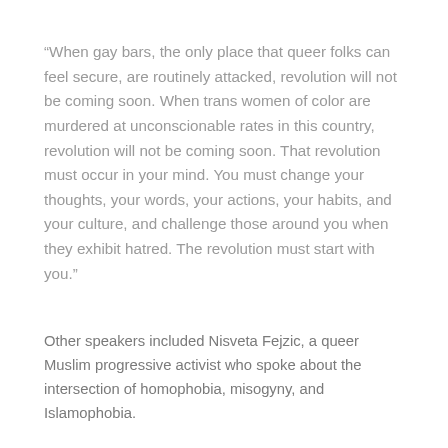“When gay bars, the only place that queer folks can feel secure, are routinely attacked, revolution will not be coming soon. When trans women of color are murdered at unconscionable rates in this country, revolution will not be coming soon. That revolution must occur in your mind. You must change your thoughts, your words, your actions, your habits, and your culture, and challenge those around you when they exhibit hatred. The revolution must start with you.”
Other speakers included Nisveta Fejzic, a queer Muslim progressive activist who spoke about the intersection of homophobia, misogyny, and Islamophobia.